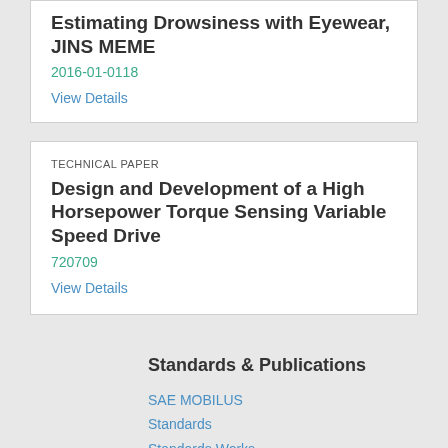Estimating Drowsiness with Eyewear, JINS MEME
2016-01-0118
View Details
TECHNICAL PAPER
Design and Development of a High Horsepower Torque Sensing Variable Speed Drive
720709
View Details
Standards & Publications
SAE MOBILUS
Standards
Standards Works
EDGE Research Reports
Scholarly Journals
SAE MobilityRxiv®